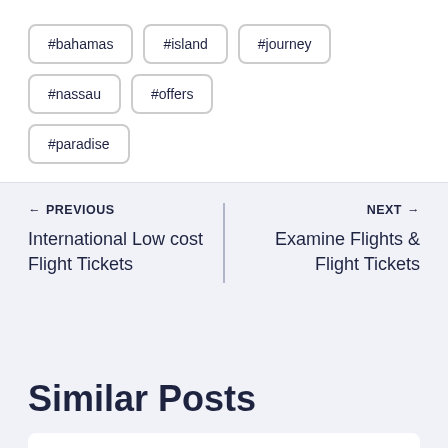#bahamas
#island
#journey
#nassau
#offers
#paradise
← PREVIOUS
International Low cost Flight Tickets
NEXT →
Examine Flights & Flight Tickets
Similar Posts